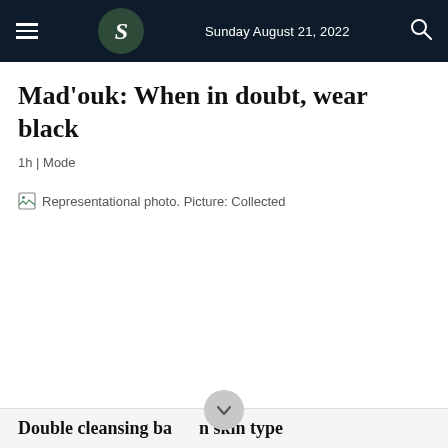Sunday August 21, 2022
Mad'ouk: When in doubt, wear black
1h | Mode
[Figure (photo): Broken image placeholder with caption: Representational photo. Picture: Collected]
Representational photo. Picture: Collected
Double cleansing based on skin type